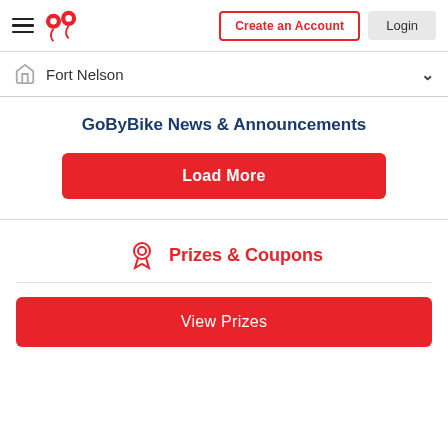[Figure (logo): GoByBike app logo - red speech bubble / map pin icon]
Create an Account
Login
Fort Nelson
GoByBike News & Announcements
Load More
Prizes & Coupons
View Prizes